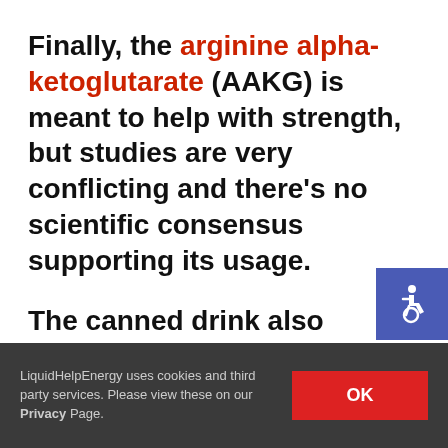Finally, the arginine alpha-ketoglutarate (AAKG) is meant to help with strength, but studies are very conflicting and there's no scientific consensus supporting its usage.
The canned drink also suffers from the problem of a proprietary blend. The first ingredient in the 6.73 grams is citrulline, which might improve blood flow and power, followed by
[Figure (illustration): Accessibility icon (wheelchair symbol) on blue background, positioned top-right of second paragraph]
LiquidHelpEnergy uses cookies and third party services. Please view these on our Privacy Page. [OK button]